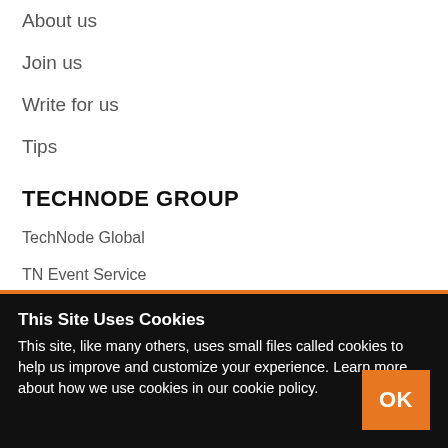About us
Join us
Write for us
Tips
TECHNODE GROUP
TechNode Global
TN Event Service
This Site Uses Cookies
This site, like many others, uses small files called cookies to help us improve and customize your experience. Learn more about how we use cookies in our cookie policy.
OK